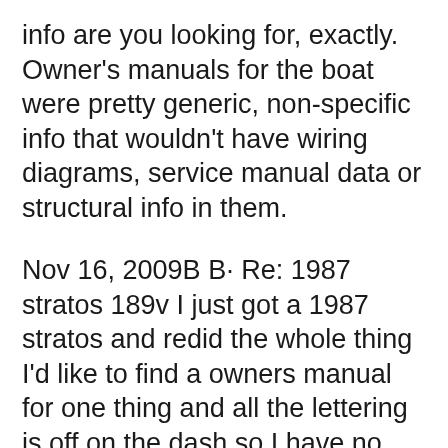info are you looking for, exactly. Owner's manuals for the boat were pretty generic, non-specific info that wouldn't have wiring diagrams, service manual data or structural info in them.
Nov 16, 2009B B· Re: 1987 stratos 189v I just got a 1987 stratos and redid the whole thing I'd like to find a owners manual for one thing and all the lettering is off on the dash so I have no idea what a few switches do can any one help me ? Download your Owner Manual quickly and easily to help with your boat ownership questions. 1987 MasterCraft Owners Manual TriStar; 1987 MasterCraft Owners Manual ProStar; 1981, 1981 MasterCraft Owners